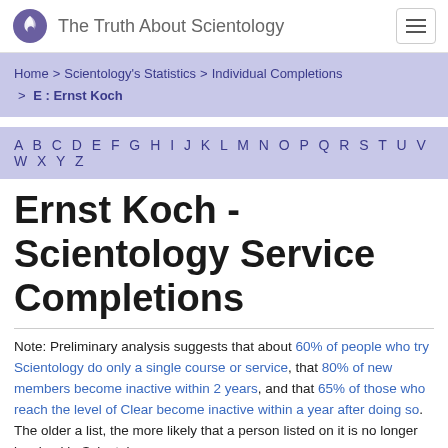The Truth About Scientology
Home > Scientology's Statistics > Individual Completions > E : Ernst Koch
A B C D E F G H I J K L M N O P Q R S T U V W X Y Z
Ernst Koch - Scientology Service Completions
Note: Preliminary analysis suggests that about 60% of people who try Scientology do only a single course or service, that 80% of new members become inactive within 2 years, and that 65% of those who reach the level of Clear become inactive within a year after doing so. The older a list, the more likely that a person listed on it is no longer involved in Scientology.
Please read About These Lists for more information.